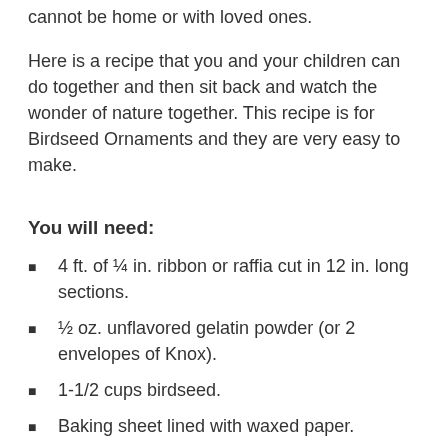cannot be home or with loved ones.
Here is a recipe that you and your children can do together and then sit back and watch the wonder of nature together. This recipe is for Birdseed Ornaments and they are very easy to make.
You will need:
4 ft. of ¼ in. ribbon or raffia cut in 12 in. long sections.
½ oz. unflavored gelatin powder (or 2 envelopes of Knox).
1-1/2 cups birdseed.
Baking sheet lined with waxed paper.
4 cookie cutters of any shape (roughly 4 in. x 4 in.).
Cooking spray.